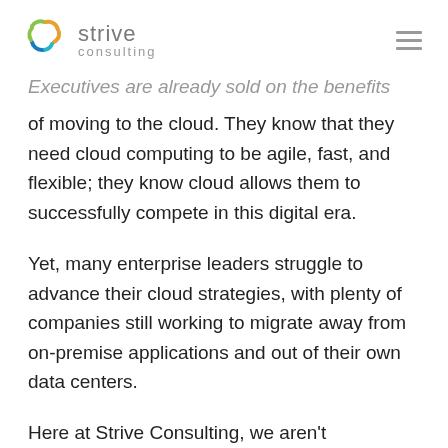strive consulting
Executives are already sold on the benefits of moving to the cloud. They know that they need cloud computing to be agile, fast, and flexible; they know cloud allows them to successfully compete in this digital era.
Yet, many enterprise leaders struggle to advance their cloud strategies, with plenty of companies still working to migrate away from on-premise applications and out of their own data centers.
Here at Strive Consulting, we aren't